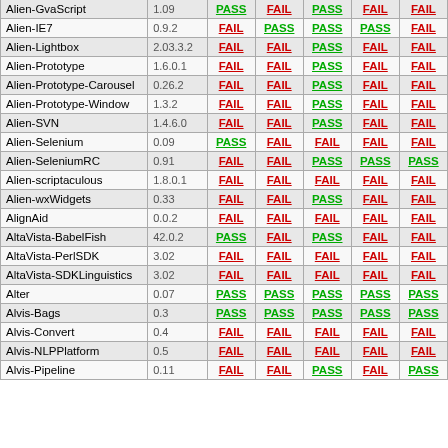| Package | Version | Col1 | Col2 | Col3 | Col4 | Col5 |
| --- | --- | --- | --- | --- | --- | --- |
| Alien-GvaScript | 1.09 | PASS | FAIL | PASS | FAIL | FAIL |
| Alien-IE7 | 0.9.2 | FAIL | PASS | PASS | PASS | FAIL |
| Alien-Lightbox | 2.03.3.2 | FAIL | FAIL | PASS | FAIL | FAIL |
| Alien-Prototype | 1.6.0.1 | FAIL | FAIL | PASS | FAIL | FAIL |
| Alien-Prototype-Carousel | 0.26.2 | FAIL | FAIL | PASS | FAIL | FAIL |
| Alien-Prototype-Window | 1.3.2 | FAIL | FAIL | PASS | FAIL | FAIL |
| Alien-SVN | 1.4.6.0 | FAIL | FAIL | PASS | FAIL | FAIL |
| Alien-Selenium | 0.09 | PASS | FAIL | FAIL | FAIL | FAIL |
| Alien-SeleniumRC | 0.91 | FAIL | FAIL | PASS | PASS | PASS |
| Alien-scriptaculous | 1.8.0.1 | FAIL | FAIL | FAIL | FAIL | FAIL |
| Alien-wxWidgets | 0.33 | FAIL | FAIL | PASS | FAIL | FAIL |
| AlignAid | 0.0.2 | FAIL | FAIL | FAIL | FAIL | FAIL |
| AltaVista-BabelFish | 42.0.2 | PASS | FAIL | PASS | FAIL | FAIL |
| AltaVista-PerlSDK | 3.02 | FAIL | FAIL | FAIL | FAIL | FAIL |
| AltaVista-SDKLinguistics | 3.02 | FAIL | FAIL | FAIL | FAIL | FAIL |
| Alter | 0.07 | PASS | PASS | PASS | PASS | PASS |
| Alvis-Bags | 0.3 | PASS | PASS | PASS | PASS | PASS |
| Alvis-Convert | 0.4 | FAIL | FAIL | FAIL | FAIL | FAIL |
| Alvis-NLPPlatform | 0.5 | FAIL | FAIL | FAIL | FAIL | FAIL |
| Alvis-Pipeline | 0.11 | FAIL | FAIL | PASS | FAIL | PASS |